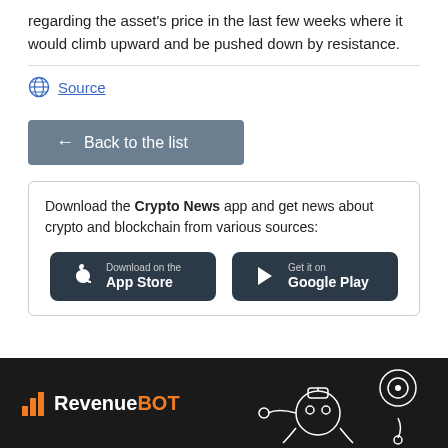regarding the asset's price in the last few weeks where it would climb upward and be pushed down by resistance.
Source
← Back to the list
Download the Crypto News app and get news about crypto and blockchain from various sources:
[Figure (infographic): Two app download buttons: 'Download on the App Store' and 'Get it on Google Play', dark background with rounded corners]
[Figure (logo): RevenueBOT logo on dark background with bar chart icon and robot illustration]